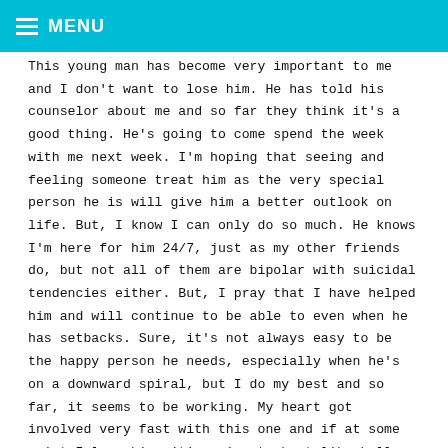MENU
This young man has become very important to me and I don't want to lose him. He has told his counselor about me and so far they think it's a good thing. He's going to come spend the week with me next week. I'm hoping that seeing and feeling someone treat him as the very special person he is will give him a better outlook on life. But, I know I can only do so much. He knows I'm here for him 24/7, just as my other friends do, but not all of them are bipolar with suicidal tendencies either. But, I pray that I have helped him and will continue to be able to even when he has setbacks. Sure, it's not always easy to be the happy person he needs, especially when he's on a downward spiral, but I do my best and so far, it seems to be working. My heart got involved very fast with this one and if at some point I lose him, it's going to hurt like hell, but I'm not going to give him up without a fight.